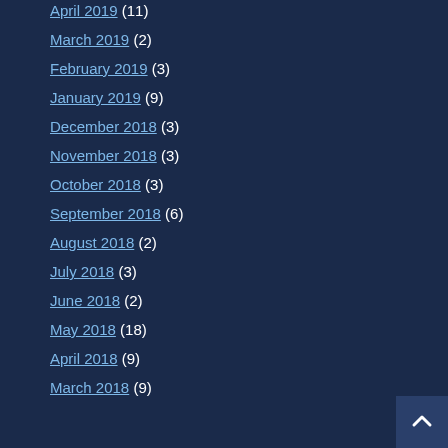April 2019 (11)
March 2019 (2)
February 2019 (3)
January 2019 (9)
December 2018 (3)
November 2018 (3)
October 2018 (3)
September 2018 (6)
August 2018 (2)
July 2018 (3)
June 2018 (2)
May 2018 (18)
April 2018 (9)
March 2018 (9)